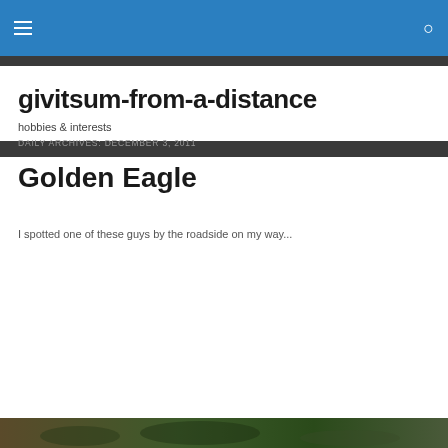givitsum-from-a-distance — hobbies & interests
DAILY ARCHIVES: DECEMBER 3, 2011
Golden Eagle
I spotted one of these guys by the roadside on my way...
Privacy & Cookies: This site uses cookies. By continuing to use this website, you agree to their use.
To find out more, including how to control cookies, see here: Cookie Policy
[Figure (photo): Photo of a golden eagle in natural habitat]